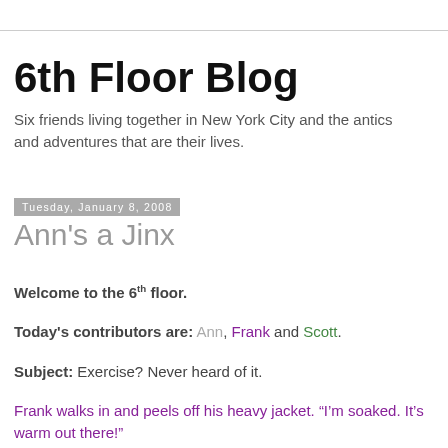6th Floor Blog
Six friends living together in New York City and the antics and adventures that are their lives.
Tuesday, January 8, 2008
Ann's a Jinx
Welcome to the 6th floor.
Today's contributors are: Ann, Frank and Scott.
Subject: Exercise? Never heard of it.
Frank walks in and peels off his heavy jacket. “I’m soaked. It’s warm out there!”